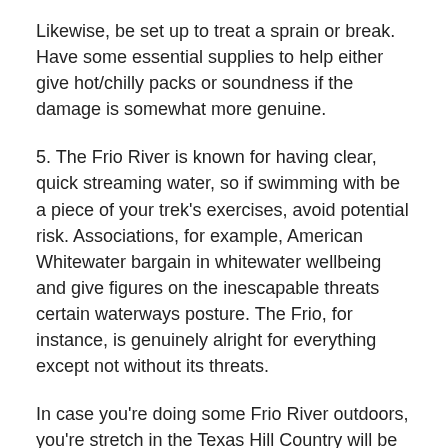Likewise, be set up to treat a sprain or break. Have some essential supplies to help either give hot/chilly packs or soundness if the damage is somewhat more genuine.
5. The Frio River is known for having clear, quick streaming water, so if swimming with be a piece of your trek's exercises, avoid potential risk. Associations, for example, American Whitewater bargain in whitewater wellbeing and give figures on the inescapable threats certain waterways posture. The Frio, for instance, is genuinely alright for everything except not without its threats.
In case you're doing some Frio River outdoors, you're stretch in the Texas Hill Country will be set apart by great circumstances and deep rooted recollections. With a little homework and arranging, your outdoors trek to this piece of the Lone Star State won't be your last.